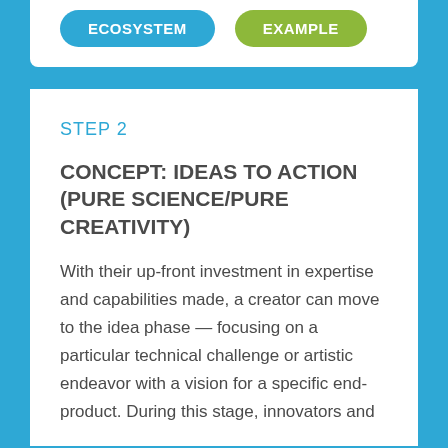[Figure (infographic): Two pill-shaped buttons: 'ECOSYSTEM' in blue and 'EXAMPLE' in olive green, displayed side by side on a white card with blue background.]
STEP 2
CONCEPT: IDEAS TO ACTION (PURE SCIENCE/PURE CREATIVITY)
With their up-front investment in expertise and capabilities made, a creator can move to the idea phase — focusing on a particular technical challenge or artistic endeavor with a vision for a specific end-product. During this stage, innovators and